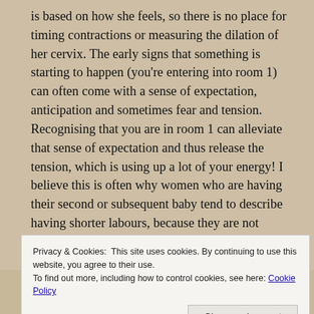is based on how she feels, so there is no place for timing contractions or measuring the dilation of her cervix. The early signs that something is starting to happen (you're entering into room 1) can often come with a sense of expectation, anticipation and sometimes fear and tension. Recognising that you are in room 1 can alleviate that sense of expectation and thus release the tension, which is using up a lot of your energy! I believe this is often why women who are having their second or subsequent baby tend to describe having shorter labours, because they are not giving much (if any) focus to room 1 either because there is a familiarity there or simply
Privacy & Cookies: This site uses cookies. By continuing to use this website, you agree to their use. To find out more, including how to control cookies, see here: Cookie Policy
Close and accept
and txt that I'd like from the natrable from the base of birth